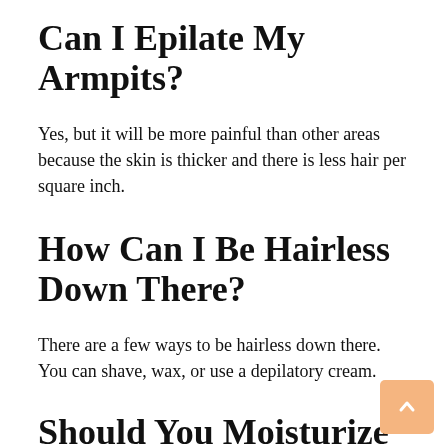Can I Epilate My Armpits?
Yes, but it will be more painful than other areas because the skin is thicker and there is less hair per square inch.
How Can I Be Hairless Down There?
There are a few ways to be hairless down there. You can shave, wax, or use a depilatory cream.
Should You Moisturize After Epilating?